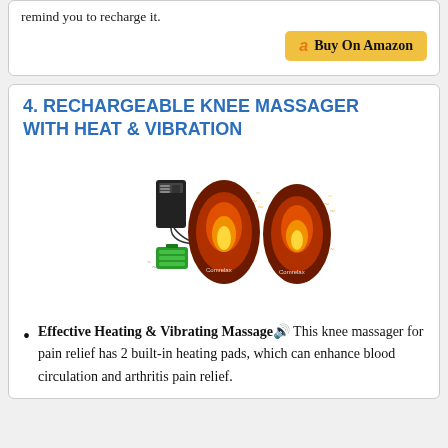remind you to recharge it.
[Figure (illustration): Buy On Amazon button with Amazon 'a' logo, gold/yellow background]
4. RECHARGEABLE KNEE MASSAGER WITH HEAT & VIBRATION
[Figure (photo): Product photo of rechargeable knee massager with heat and vibration, showing two knee wraps with glowing orange/red heating effect, a control unit, and a green battery pack]
Effective Heating & Vibrating Massage🔊 This knee massager for pain relief has 2 built-in heating pads, which can enhance blood circulation and arthritis pain relief.